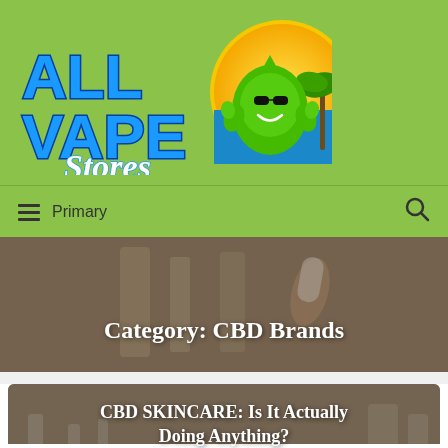[Figure (logo): All Vape Stores logo with stylized text and cartoon green drop mascot with sunglasses on a sun/beach background]
Primary
[Figure (photo): Blurred photo of a person holding a small CBD oil bottle, used as banner background for Category: CBD Brands]
Category: CBD Brands
[Figure (photo): Blurred photo of a person holding a smartphone near a bathroom counter, used as article card background]
CBD SKINCARE: Is It Actually Doing Anything?